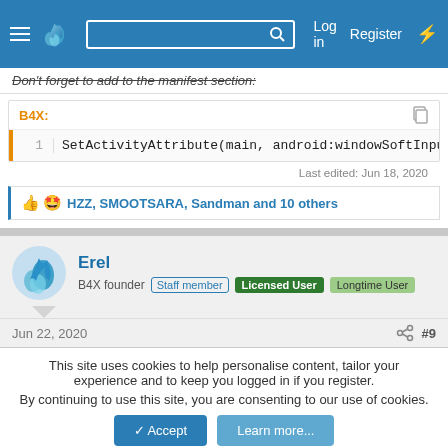Navigation bar with logo, search, Log in, Register
Don't forget to add to the manifest section:
[Figure (screenshot): Code block labeled B4X: showing line 1: SetActivityAttribute(main, android:windowSoftInpu...]
Last edited: Jun 18, 2020
HZZ, SMOOTSARA, Sandman and 10 others
Erel
B4X founder  Staff member  Licensed User  Longtime User
Jun 22, 2020  #9
This site uses cookies to help personalise content, tailor your experience and to keep you logged in if you register.
By continuing to use this site, you are consenting to our use of cookies.